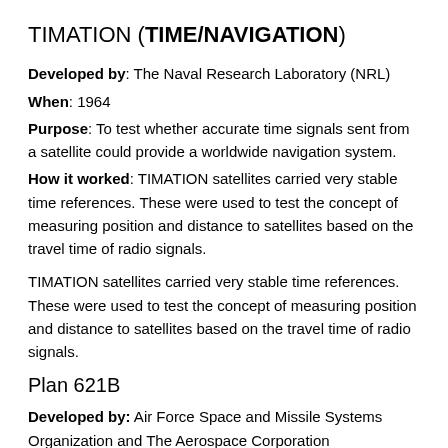TIMATION (TIME/NAVIGATION)
Developed by: The Naval Research Laboratory (NRL)
When: 1964
Purpose: To test whether accurate time signals sent from a satellite could provide a worldwide navigation system.
How it worked: TIMATION satellites carried very stable time references. These were used to test the concept of measuring position and distance to satellites based on the travel time of radio signals.
TIMATION satellites carried very stable time references. These were used to test the concept of measuring position and distance to satellites based on the travel time of radio signals.
Plan 621B
Developed by: Air Force Space and Missile Systems Organization and The Aerospace Corporation